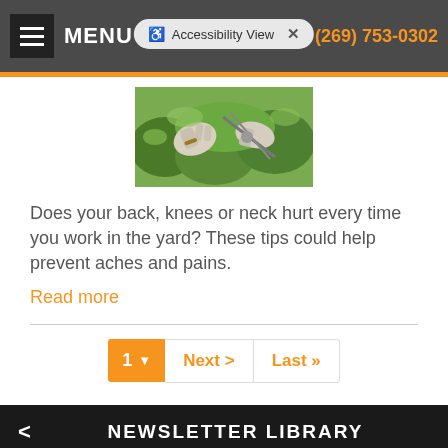MENU | Accessibility View | (269) 753-0302
[Figure (photo): Hands gardening with gloves and pruning shears among green plants]
Does your back, knees or neck hurt every time you work in the yard? These tips could help prevent aches and pains.
Read more
1  Next >  Last >>
NEWSLETTER LIBRARY
Weight Loss